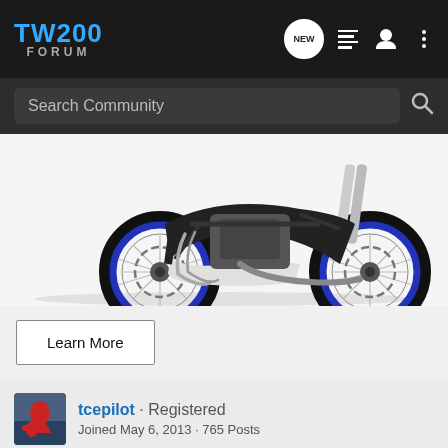TW200 FORUM
Search Community
[Figure (photo): Partial view of a motorcycle with blue spoked wheels, black frame, engine visible, white skid plate, on white background]
Learn More
tcepilot · Registered
Joined May 6, 2013 · 765 Posts
#13 · Ma
[Figure (photo): Yamaha YZ250F ME and YZ250F advertisement banner with blue background, motorcycles, Yamaha logo and LEARN MORE button]